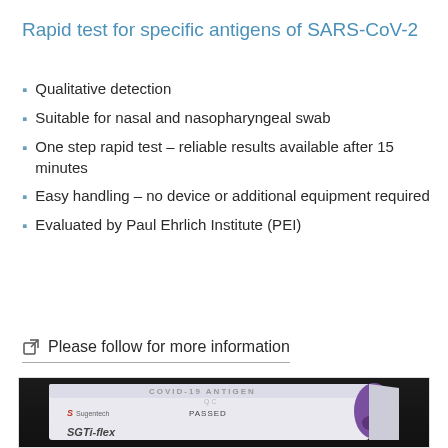Rapid test for specific antigens of SARS-CoV-2
Qualitative detection
Suitable for nasal and nasopharyngeal swab
One step rapid test – reliable results available after 15 minutes
Easy handling – no device or additional equipment required
Evaluated by Paul Ehrlich Institute (PEI)
🔗 Please follow for more information
[Figure (photo): Photo of a Sugentech COVID-19 antigen rapid test box (SGTi-flex) labeled PASSED, on a dark background. The box is white and purple.]